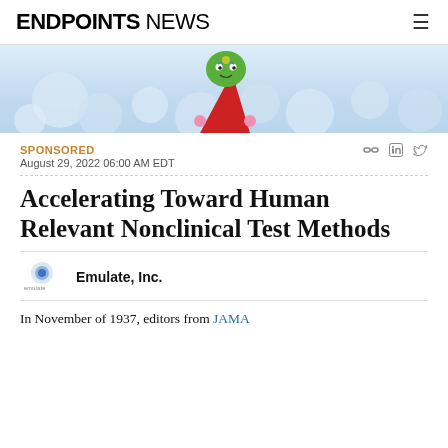ENDPOINTS NEWS
[Figure (photo): Decorative hero image showing a colorful cartoon character (green head, red outfit with pink pompoms) against a light blue/white background with spherical shapes]
SPONSORED
August 29, 2022 06:00 AM EDT
Accelerating Toward Human Relevant Nonclinical Test Methods
Emulate, Inc.
In November of 1937, editors from JAMA